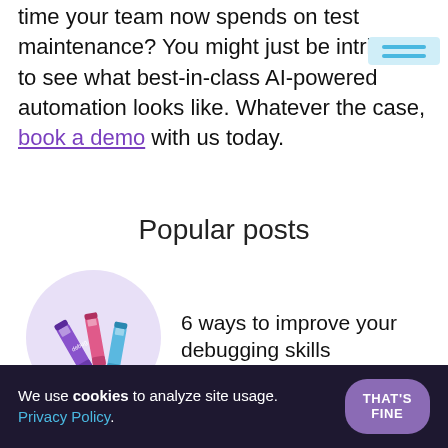time your team now spends on test maintenance? You might just be intrigued to see what best-in-class AI-powered automation looks like. Whatever the case, book a demo with us today.
Popular posts
[Figure (illustration): Circular thumbnail image with purple/lavender background showing colorful pens or markers with text/labels on them]
6 ways to improve your debugging skills
We use cookies to analyze site usage. Privacy Policy.